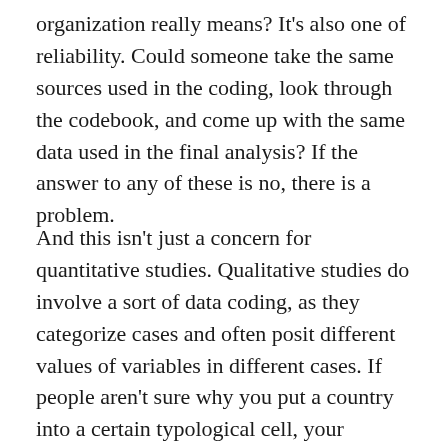organization really means? It's also one of reliability. Could someone take the same sources used in the coding, look through the codebook, and come up with the same data used in the final analysis? If the answer to any of these is no, there is a problem.
And this isn't just a concern for quantitative studies. Qualitative studies do involve a sort of data coding, as they categorize cases and often posit different values of variables in different cases. If people aren't sure why you put a country into a certain typological cell, your conclusions won't matter.